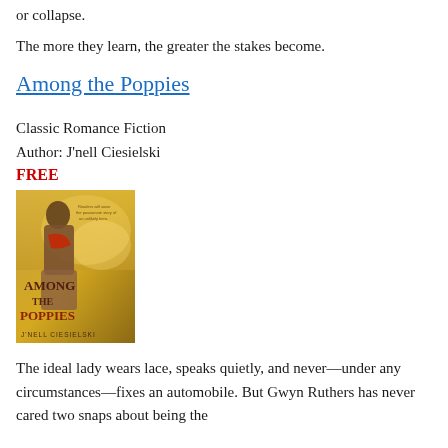or collapse.
The more they learn, the greater the stakes become.
Among the Poppies
Classic Romance Fiction
Author: J'nell Ciesielski
FREE
[Figure (photo): Book cover of 'Among the Poppies' by J'nell Ciesielski showing a woman in period clothing against a warm golden background with poppies]
The ideal lady wears lace, speaks quietly, and never—under any circumstances—fixes an automobile. But Gwyn Ruthers has never cared two snaps about being the